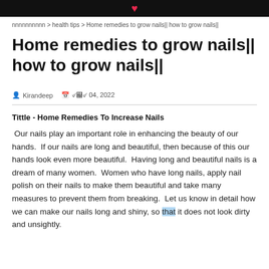nnnnnnnnnn > health tips > Home remedies to grow nails|| how to grow nails||
Home remedies to grow nails|| how to grow nails||
Kirandeep   nnn 04, 2022
Tittle - Home Remedies To Increase Nails
Our nails play an important role in enhancing the beauty of our hands.  If our nails are long and beautiful, then because of this our hands look even more beautiful.  Having long and beautiful nails is a dream of many women.  Women who have long nails, apply nail polish on their nails to make them beautiful and take many measures to prevent them from breaking.  Let us know in detail how we can make our nails long and shiny, so that it does not look dirty and unsightly.